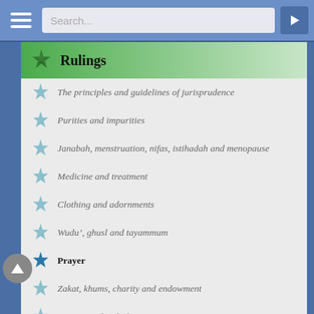Search...
Rulings
The principles and guidelines of jurisprudence
Purities and impurities
Janabah, menstruation, nifas, istihadah and menopause
Medicine and treatment
Clothing and adornments
Wudu’, ghusl and tayammum
Prayer
Zakat, khums, charity and endowment
Fasting and i‘tikaf
Foods and drinks
Hunting and slaughtering animals
Vows, covenants and oaths
Hajj, Umrah and Ziyarah
Jihad, defense and migration for God
Inviting toward good, enjoining right and forbidding wrong
Hudud and punishments